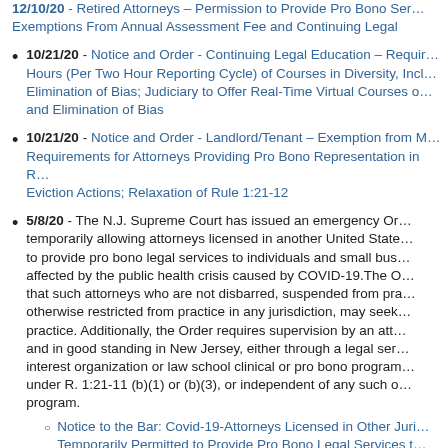12/10/20 - Retired Attorneys – Permission to Provide Pro Bono Services; Exemptions From Annual Assessment Fee and Continuing Legal
10/21/20 - Notice and Order - Continuing Legal Education – Requiring Hours (Per Two Hour Reporting Cycle) of Courses in Diversity, Inclusion, Elimination of Bias; Judiciary to Offer Real-Time Virtual Courses on Diversity and Elimination of Bias
10/21/20 - Notice and Order - Landlord/Tenant – Exemption from MCLE Requirements for Attorneys Providing Pro Bono Representation in Residential Eviction Actions; Relaxation of Rule 1:21-12
5/8/20 - The N.J. Supreme Court has issued an emergency Order temporarily allowing attorneys licensed in another United State to provide pro bono legal services to individuals and small businesses affected by the public health crisis caused by COVID-19. The Order requires that such attorneys who are not disbarred, suspended from practice, or otherwise restricted from practice in any jurisdiction, may seek permission to practice. Additionally, the Order requires supervision by an attorney licensed and in good standing in New Jersey, either through a legal services or public interest organization or law school clinical or pro bono program recognized under R. 1:21-11 (b)(1) or (b)(3), or independent of any such organization or program.
Notice to the Bar: Covid-19-Attorneys Licensed in Other Jurisdictions Temporarily Permitted to Provide Pro Bono Legal Services to Individuals and Small Businesses
4/28/20 - In the Matter of the Adoption of a Child by C.J. - reversing a decision involving a stepparent adoption, the Appellate Division